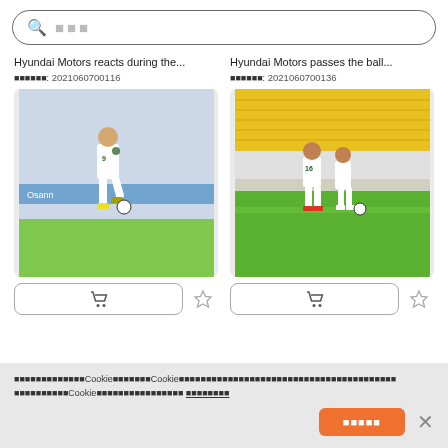검색어 (search bar placeholder)
Hyundai Motors reacts during the...
미디어번호: 2021060700116
[Figure (photo): Soccer player in white uniform kicking ball on field]
Hyundai Motors passes the ball...
미디어번호: 2021060700136
[Figure (photo): Two soccer players in white uniforms standing on field with yellow stadium seats in background]
귀하의 개인정보를 보호하기위해 Cookie를 사용합니다 Cookie에 관한 자세한 사항및 귀하가 동의하지 않을 경우 귀하가 취할수 있는 선택에 관한 자세한 사항은 당사 Cookie정책을 참조하시기 바랍니다 쿠키정책 보기
쿠키 동의